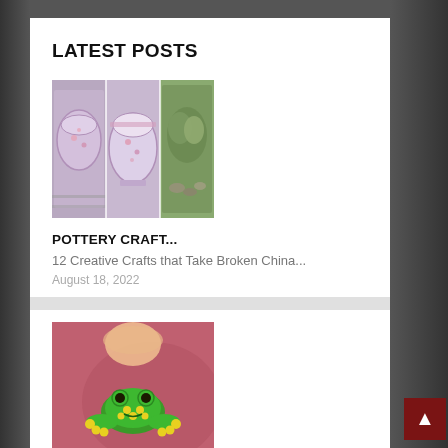LATEST POSTS
[Figure (photo): Collage of decorated pottery bowls with floral patterns, mosaic of three images]
POTTERY CRAFT...
12 Creative Crafts that Take Broken China...
August 18, 2022
[Figure (photo): Child holding a green frog clay sculpture with yellow dots, blurred red background]
EASY CLAY SCULPTURES...
Pottery Making enhances creativity, spatial...